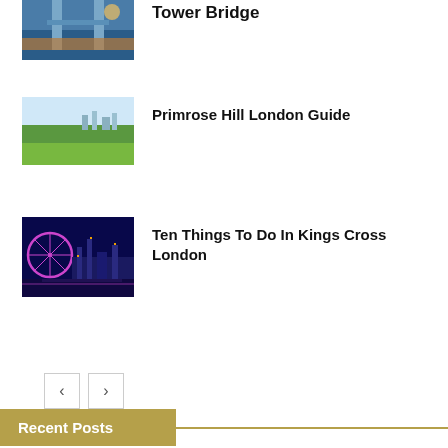Tower Bridge
Primrose Hill London Guide
Ten Things To Do In Kings Cross London
Recent Posts
Amazing London Views From Inside Tower Bridge